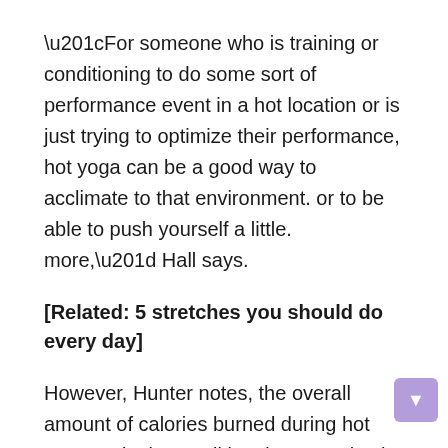“For someone who is training or conditioning to do some sort of performance event in a hot location or is just trying to optimize their performance, hot yoga can be a good way to acclimate to that environment. or to be able to push yourself a little. more,” Hall says.
[Related: 5 stretches you should do every day]
However, Hunter notes, the overall amount of calories burned during hot yoga and other traditional yoga styles is quite similar. She and her team further discovered that hot yoga and unheated yoga have similar effects on the dilation of blood vessels. “It didn’t appear that